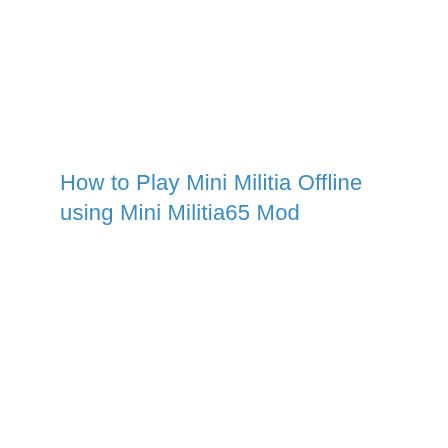How to Play Mini Militia Offline using Mini Militia65 Mod